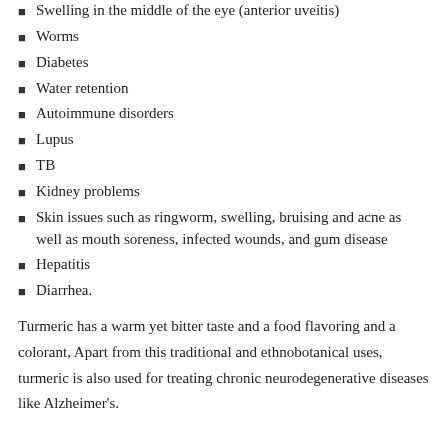Swelling in the middle of the eye (anterior uveitis)
Worms
Diabetes
Water retention
Autoimmune disorders
Lupus
TB
Kidney problems
Skin issues such as ringworm, swelling, bruising and acne as well as mouth soreness, infected wounds, and gum disease
Hepatitis
Diarrhea.
Turmeric has a warm yet bitter taste and a food flavoring and a colorant, Apart from this traditional and ethnobotanical uses, turmeric is also used for treating chronic neurodegenerative diseases like Alzheimer's.